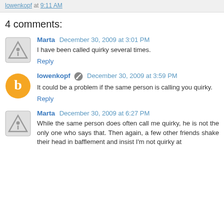lowenkopf at 9:11 AM
4 comments:
Marta December 30, 2009 at 3:01 PM
I have been called quirky several times.
Reply
lowenkopf December 30, 2009 at 3:59 PM
It could be a problem if the same person is calling you quirky.
Reply
Marta December 30, 2009 at 6:27 PM
While the same person does often call me quirky, he is not the only one who says that. Then again, a few other friends shake their head in bafflement and insist I'm not quirky at all.